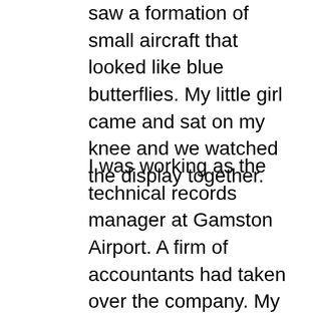saw a formation of small aircraft that looked like blue butterflies. My little girl came and sat on my knee and we watched the display together.
I was working as the technical records manager at Gamston Airport. A firm of accountants had taken over the company. My desk was in a corner of a large room. There were sheets of A4 paper taped to the wall above my desk. They contained lists of employees who were Jehovah's Witnesses with a “no blood” card. An engineer known as Bomber Harris came to my desk and asked for a form. I looked through a suspension file trolley but couldn’t find the form he wanted. I decided I would redesign all the forms because they were badly designed. A couple of engineers called John and Damion had desks next to mine. I told them I was going to install baseball that would be in the